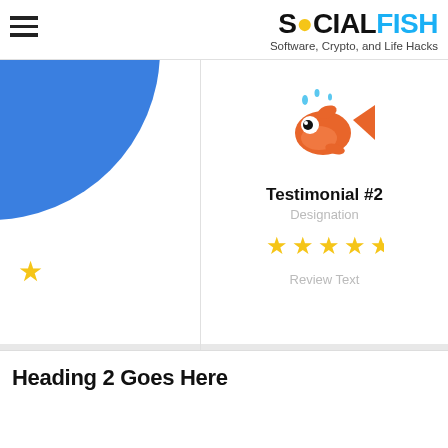SOCIALFISH — Software, Crypto, and Life Hacks
[Figure (illustration): Left testimonial card with a blue quarter-circle illustration in the top-left corner and a single gold star in the lower-left area. A horizontal progress bar runs along the bottom.]
[Figure (illustration): Right testimonial card showing an orange cartoon fish mascot (SocialFish logo character) with water droplets, followed by 'Testimonial #2', 'Designation', four gold stars, and 'Review Text'. A horizontal progress bar runs along the bottom.]
Heading 2 Goes Here